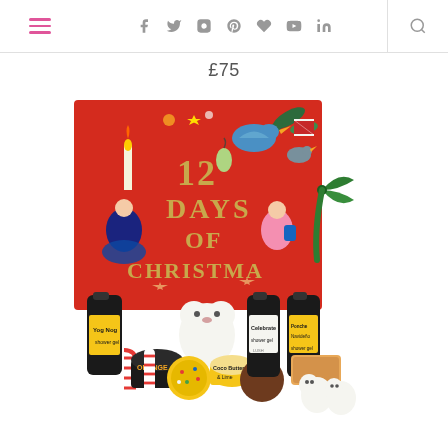Navigation bar with hamburger menu, social icons (Facebook, Twitter, Instagram, Pinterest, Bloglovin, YouTube, LinkedIn), and search icon
£75
[Figure (photo): Lush '12 Days of Christmas' gift set product photo showing a red illustrated box with festive artwork and the text '12 Days of Christmas', with a green ribbon bow, surrounded by various Lush bath and beauty products including bath bombs, shower gels, body scrubs, and other items arranged in front of the box.]